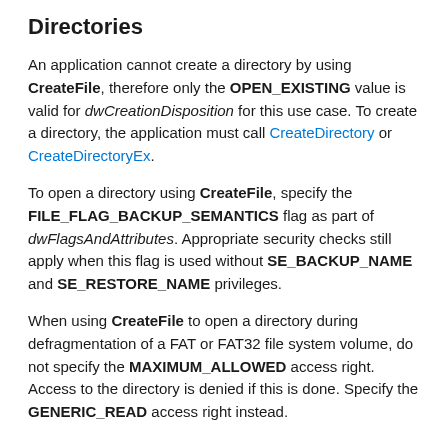Directories
An application cannot create a directory by using CreateFile, therefore only the OPEN_EXISTING value is valid for dwCreationDisposition for this use case. To create a directory, the application must call CreateDirectory or CreateDirectoryEx.
To open a directory using CreateFile, specify the FILE_FLAG_BACKUP_SEMANTICS flag as part of dwFlagsAndAttributes. Appropriate security checks still apply when this flag is used without SE_BACKUP_NAME and SE_RESTORE_NAME privileges.
When using CreateFile to open a directory during defragmentation of a FAT or FAT32 file system volume, do not specify the MAXIMUM_ALLOWED access right. Access to the directory is denied if this is done. Specify the GENERIC_READ access right instead.